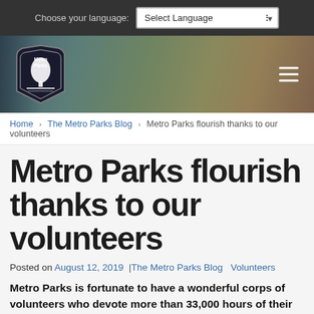Choose your language: Select Language
[Figure (screenshot): Metro Parks website header banner with logo and hamburger menu icon on a blurred outdoor/building background]
Home > The Metro Parks Blog > Metro Parks flourish thanks to our volunteers
Metro Parks flourish thanks to our volunteers
Posted on August 12, 2019 | The Metro Parks Blog   Volunteers
Metro Parks is fortunate to have a wonderful corps of volunteers who devote more than 33,000 hours of their time to Metro Parks every year. We couldn't do what we do without their passion and